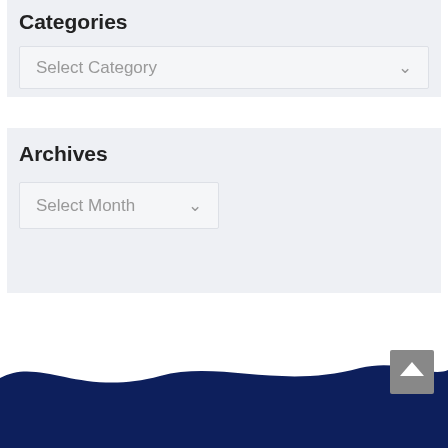Categories
Select Category
Archives
Select Month
[Figure (illustration): Dark navy blue footer wave shape at the bottom of the page with a scroll-to-top button in the lower right corner.]